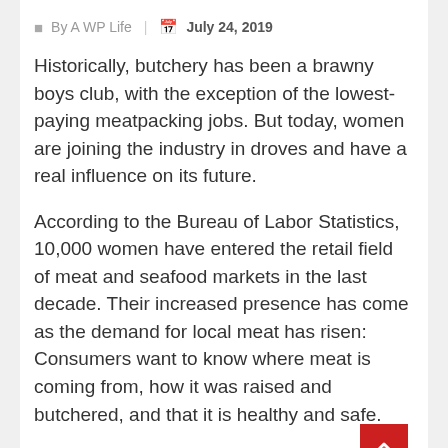By A WP Life | July 24, 2019
Historically, butchery has been a brawny boys club, with the exception of the lowest-paying meatpacking jobs. But today, women are joining the industry in droves and have a real influence on its future.
According to the Bureau of Labor Statistics, 10,000 women have entered the retail field of meat and seafood markets in the last decade. Their increased presence has come as the demand for local meat has risen: Consumers want to know where meat is coming from, how it was raised and butchered, and that it is healthy and safe.
Read More »